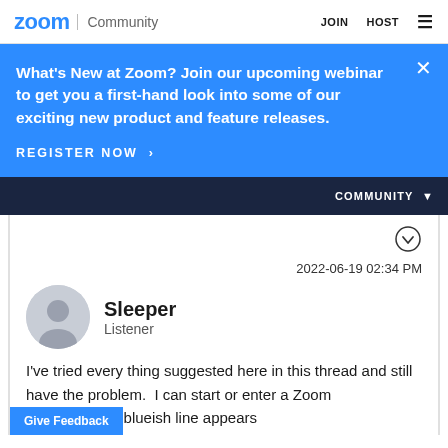zoom Community | JOIN HOST
What's New at Zoom? Join our upcoming webinar to get you a first-hand look into some of our exciting new product and feature releases.
REGISTER NOW >
COMMUNITY
2022-06-19 02:34 PM
Sleeper
Listener
I've tried every thing suggested here in this thread and still have the problem.  I can start or enter a Zoom when suddenly a blueish line appears